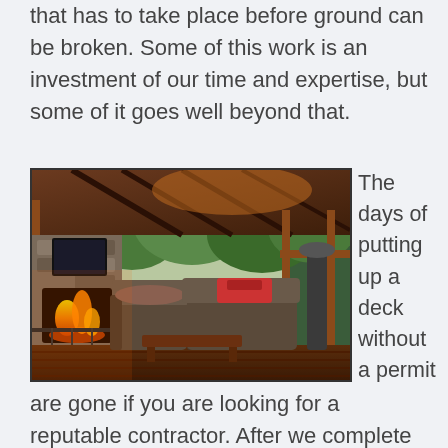that has to take place before ground can be broken. Some of this work is an investment of our time and expertise, but some of it goes well beyond that.
[Figure (photo): Interior photo of a covered deck/screened porch with wooden ceiling, stone fireplace, wicker furniture, and views of green trees through large windows.]
The days of putting up a deck without a permit are gone if you are looking for a reputable contractor. After we complete the permit-